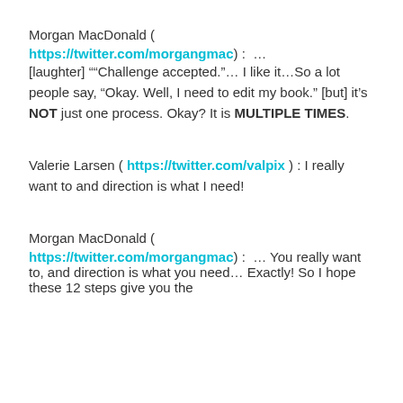Morgan MacDonald ( https://twitter.com/morgangmac ) :  … [laughter] "“Challenge accepted."… I like it…So a lot people say, “Okay. Well, I need to edit my book.” [but] it’s NOT just one process. Okay? It is MULTIPLE TIMES.
Valerie Larsen ( https://twitter.com/valpix ) : I really want to and direction is what I need!
Morgan MacDonald ( https://twitter.com/morgangmac ) :  … You really want to, and direction is what you need… Exactly! So I hope these 12 steps give you the